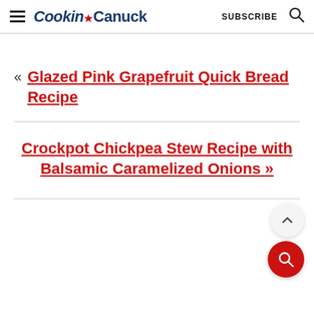Cookin' Canuck  SUBSCRIBE
« Glazed Pink Grapefruit Quick Bread Recipe
Crockpot Chickpea Stew Recipe with Balsamic Caramelized Onions »